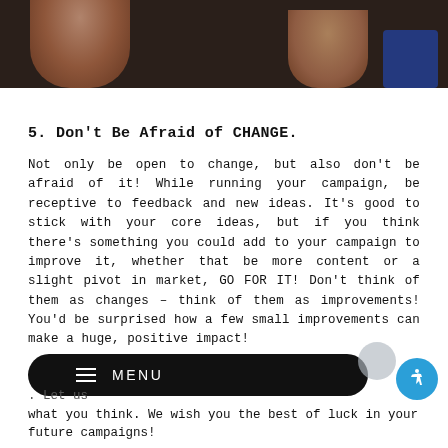[Figure (photo): Cropped photo showing people from behind/shoulders, dark background with skin tones visible, one person wearing blue]
5. Don't Be Afraid of CHANGE.
Not only be open to change, but also don't be afraid of it! While running your campaign, be receptive to feedback and new ideas. It's good to stick with your core ideas, but if you think there's something you could add to your campaign to improve it, whether that be more content or a slight pivot in market, GO FOR IT! Don't think of them as changes – think of them as improvements! You'd be surprised how a few small improvements can make a huge, positive impact!
. Let us what you think. We wish you the best of luck in your future campaigns!